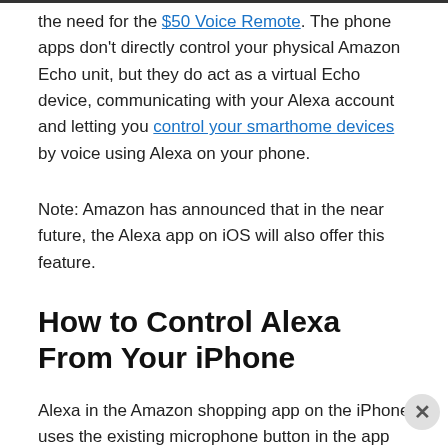the need for the $50 Voice Remote. The phone apps don't directly control your physical Amazon Echo unit, but they do act as a virtual Echo device, communicating with your Alexa account and letting you control your smarthome devices by voice using Alexa on your phone.
Note: Amazon has announced that in the near future, the Alexa app on iOS will also offer this feature.
How to Control Alexa From Your iPhone
Alexa in the Amazon shopping app on the iPhone uses the existing microphone button in the app that's used for voice search. You can still use it for that, of course, but